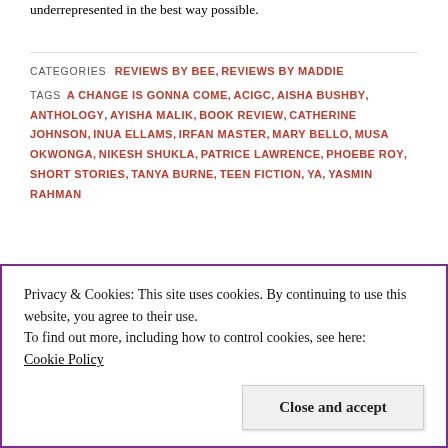underrepresented in the best way possible.
CATEGORIES  REVIEWS BY BEE, REVIEWS BY MADDIE
TAGS  A CHANGE IS GONNA COME, ACIGC, AISHA BUSHBY, ANTHOLOGY, AYISHA MALIK, BOOK REVIEW, CATHERINE JOHNSON, INUA ELLAMS, IRFAN MASTER, MARY BELLO, MUSA OKWONGA, NIKESH SHUKLA, PATRICE LAWRENCE, PHOEBE ROY, SHORT STORIES, TANYA BURNE, TEEN FICTION, YA, YASMIN RAHMAN
Privacy & Cookies: This site uses cookies. By continuing to use this website, you agree to their use.
To find out more, including how to control cookies, see here:
Cookie Policy
Close and accept